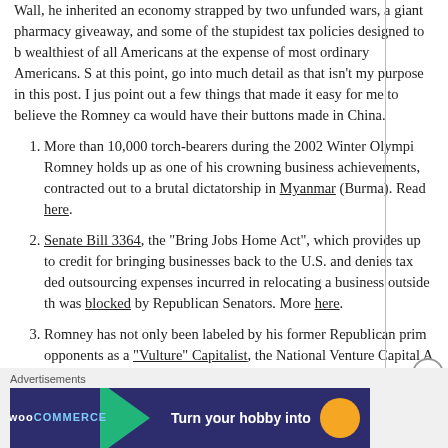Wall, he inherited an economy strapped by two unfunded wars, a giant pharmacy giveaway, and some of the stupidest tax policies designed to benefit the wealthiest of all Americans at the expense of most ordinary Americans. Suffice it, at this point, go into much detail as that isn't my purpose in this post. I just want to point out a few things that made it easy for me to believe the Romney campaign would have their buttons made in China.
More than 10,000 torch-bearers during the 2002 Winter Olympics, which Romney holds up as one of his crowning business achievements, had uniforms contracted out to a brutal dictatorship in Myanmar (Burma). Read more here.
Senate Bill 3364, the "Bring Jobs Home Act", which provides up to a 20% tax credit for bringing businesses back to the U.S. and denies tax deductions for outsourcing expenses incurred in relocating a business outside the country, was blocked by Republican Senators. More here.
Romney has not only been labeled by his former Republican primary opponents as a "Vulture" Capitalist, the National Venture Capital Association has specifically disowned him as one of them (though it's killing them to admit it). His company, Bain Capital, is well-known for its role in shipping jobs overseas.
Advertisements